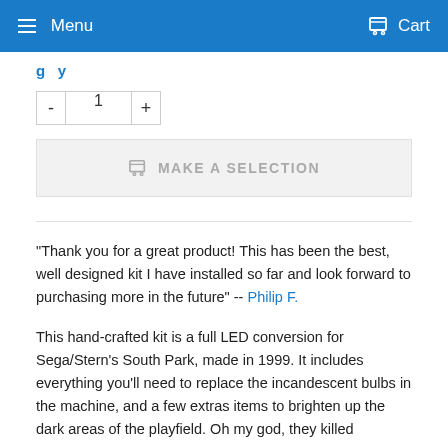Menu   Cart
(partial title/link text visible at top - cut off)
Quantity selector: - 1 +
MAKE A SELECTION
"Thank you for a great product! This has been the best, well designed kit I have installed so far and look forward to purchasing more in the future" -- Philip F.
This hand-crafted kit is a full LED conversion for Sega/Stern's South Park, made in 1999. It includes everything you'll need to replace the incandescent bulbs in the machine, and a few extras items to brighten up the dark areas of the playfield. Oh my god, they killed